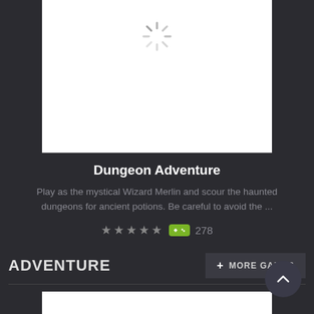[Figure (screenshot): White thumbnail placeholder with loading spinner at top center]
Dungeon Adventure
Play as the mystical Wizard Merlin and scour the haunted dungeons for ancient potions. Be careful to avoid the ...
★★★★★  🎮 278
ADVENTURE
+ MORE GAMES
[Figure (screenshot): White thumbnail placeholder with loading spinner in center]